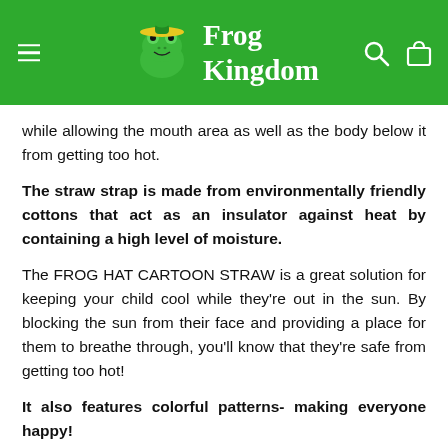Frog Kingdom
while allowing the mouth area as well as the body below it from getting too hot.
The straw strap is made from environmentally friendly cottons that act as an insulator against heat by containing a high level of moisture.
The FROG HAT CARTOON STRAW is a great solution for keeping your child cool while they're out in the sun. By blocking the sun from their face and providing a place for them to breathe through, you'll know that they're safe from getting too hot!
It also features colorful patterns- making everyone happy!